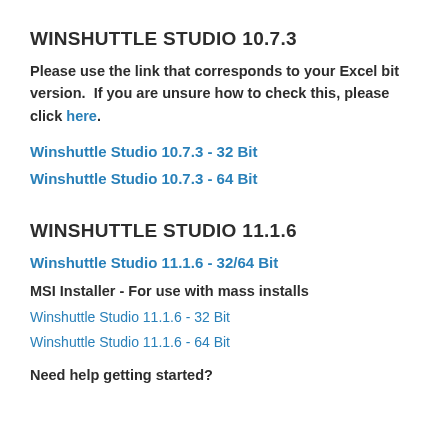WINSHUTTLE STUDIO 10.7.3
Please use the link that corresponds to your Excel bit version.  If you are unsure how to check this, please click here.
Winshuttle Studio 10.7.3 - 32 Bit
Winshuttle Studio 10.7.3 - 64 Bit
WINSHUTTLE STUDIO 11.1.6
Winshuttle Studio 11.1.6 - 32/64 Bit
MSI Installer - For use with mass installs
Winshuttle Studio 11.1.6 - 32 Bit
Winshuttle Studio 11.1.6 - 64 Bit
Need help getting started?